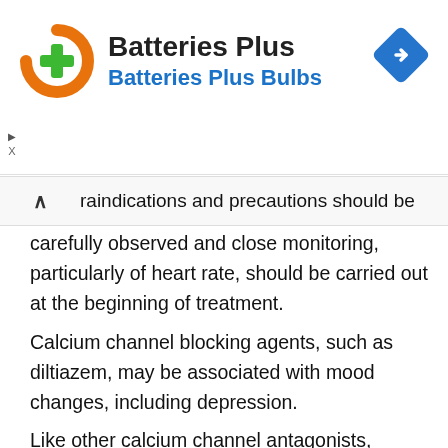[Figure (logo): Batteries Plus Bulbs advertisement banner with orange battery logo and green plus sign, blue navigation arrow icon on right]
raindications and precautions should be
carefully observed and close monitoring, particularly of heart rate, should be carried out at the beginning of treatment. Calcium channel blocking agents, such as diltiazem, may be associated with mood changes, including depression. Like other calcium channel antagonists, diltiazem has an inhibitory effect on intestinal motility. Therefore it should be used with caution in patients at risk to develop an intestinal obstruction. Tablet residues from slow release formulations of the product may appear in the